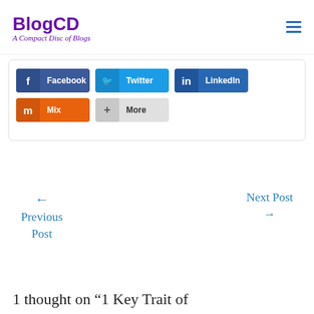BlogCD – A Compact Disc of Blogs
[Figure (screenshot): Social share buttons: Facebook, Twitter, LinkedIn, Mix, More]
← Previous Post
Next Post →
1 thought on "1 Key Trait of